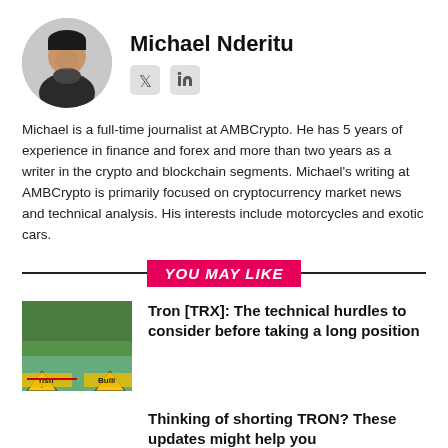[Figure (photo): Circular profile photo of Michael Nderitu, a man in dark clothing]
Michael Nderitu
[Figure (logo): Twitter and LinkedIn social media icons]
Michael is a full-time journalist at AMBCrypto. He has 5 years of experience in finance and forex and more than two years as a writer in the crypto and blockchain segments. Michael's writing at AMBCrypto is primarily focused on cryptocurrency market news and technical analysis. His interests include motorcycles and exotic cars.
YOU MAY LIKE
[Figure (photo): Thumbnail image showing a bullish/bearish chart graphic with trees in background]
Tron [TRX]: The technical hurdles to consider before taking a long position
Thinking of shorting TRON? These updates might help you